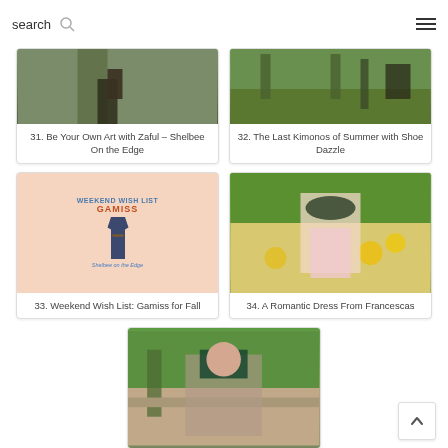search
[Figure (photo): Item 31: Be Your Own Art with Zaful – Shelbee On the Edge]
31. Be Your Own Art with Zaful – Shelbee On the Edge
[Figure (photo): Item 32: The Last Kimonos of Summer with Shoe Dazzle]
32. The Last Kimonos of Summer with Shoe Dazzle
[Figure (photo): Item 33: Weekend Wish List: Gamiss for Fall – promotional graphic]
33. Weekend Wish List: Gamiss for Fall
[Figure (photo): Item 34: A Romantic Dress From Francescas – woman in hat in sunflower field]
34. A Romantic Dress From Francescas
[Figure (photo): Item 35: partially visible – woman in park sitting on wall]